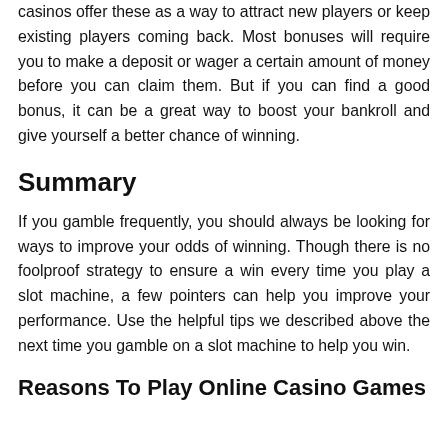casinos offer these as a way to attract new players or keep existing players coming back. Most bonuses will require you to make a deposit or wager a certain amount of money before you can claim them. But if you can find a good bonus, it can be a great way to boost your bankroll and give yourself a better chance of winning.
Summary
If you gamble frequently, you should always be looking for ways to improve your odds of winning. Though there is no foolproof strategy to ensure a win every time you play a slot machine, a few pointers can help you improve your performance. Use the helpful tips we described above the next time you gamble on a slot machine to help you win.
Reasons To Play Online Casino Games